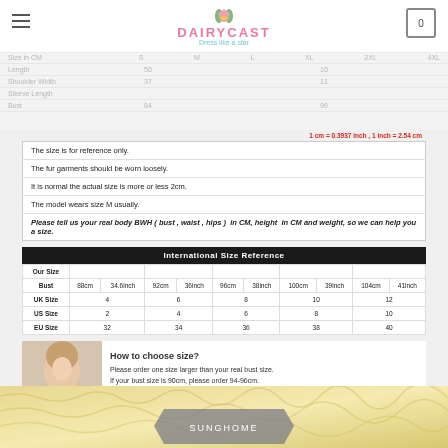DAIRYCAST - Dress like a star
1 cm = 0.3937 inch , 1 inch = 2.54 cm
The size is for reference only.
The fur garments should be worn loosely.
It is normal the actual size is more or less 2cm.
The model wears size M usually.
Please tell us your real body BWH ( bust , waist , hips ) in CM, height in CM and weight, so we can help you a size.
| International Size Reference |
| --- |
| Our Size |  |  |  |  |  |  |  |  |  |
| Bust | 88cm | 34.6inch | 92cm | 36inch | 96cm | 38inch | 100cm | 39inch | 104cm | 41inch |
| UK Size |  | 4 |  | 6 |  | 8 |  | 10 |  | 12 |
| US Size |  | 2 |  | 4 |  | 6 |  | 8 |  | 10 |
| EU Size |  | 32 |  | 34 |  | 36 |  | 38 |  | 40 |
[Figure (photo): Woman measuring her bust with a tape measure]
How to choose size?
Please order one size larger than your real bust size.
If your bust size is 90cm, please order 94-96cm.
1inch=2.54cm
[Figure (photo): Bottom product image strip with SUNGHOME label]